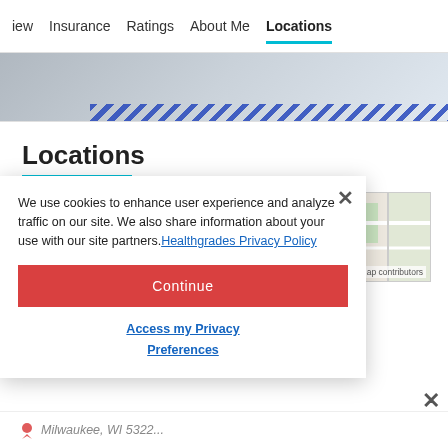iew  Insurance  Ratings  About Me  Locations
[Figure (photo): Hero image showing a person, partially visible, with a blue diagonal stripe overlay at the bottom]
Locations
[Figure (map): Street map showing an urban area with zoom-in button (+) and map contributor attribution]
We use cookies to enhance user experience and analyze traffic on our site. We also share information about your use with our site partners. Healthgrades Privacy Policy
Continue
Access my Privacy Preferences